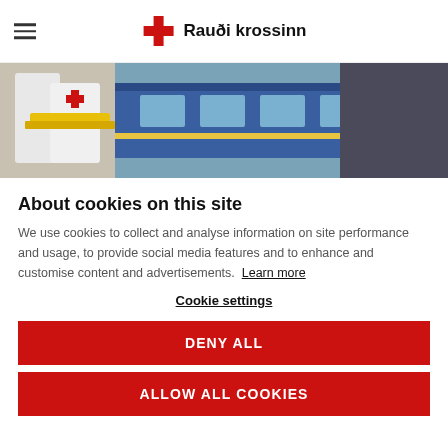Rauði krossinn
[Figure (photo): Red Cross workers in vests handling a stretcher near a blue train]
About cookies on this site
We use cookies to collect and analyse information on site performance and usage, to provide social media features and to enhance and customise content and advertisements. Learn more
Cookie settings
DENY ALL
ALLOW ALL COOKIES